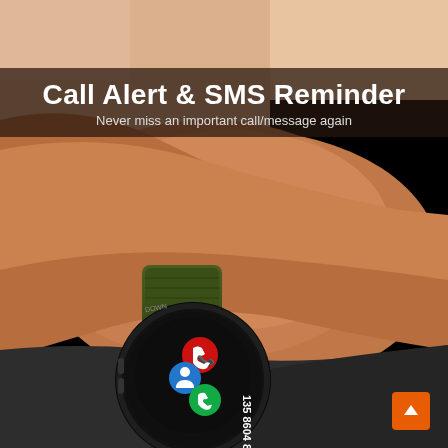[Figure (photo): A smartwatch with a green military-style band worn on a person's wrist. The watch screen shows a call alert interface with a red phone icon, blue contact icon, green call answer icon, and a phone number 135 8604 8532. Text on the bezel reads DOWN and OPEN.]
Call Alert & SMS Reminder
Never miss an important call/message again